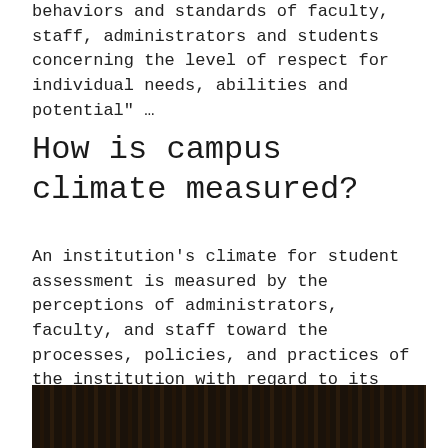behaviors and standards of faculty, staff, administrators and students concerning the level of respect for individual needs, abilities and potential" …
How is campus climate measured?
An institution's climate for student assessment is measured by the perceptions of administrators, faculty, and staff toward the processes, policies, and practices of the institution with regard to its student assessment efforts.
[Figure (photo): Dark photograph, appears to show a dimly lit scene with vertical streaks, possibly an indoor or architectural image with very low lighting.]